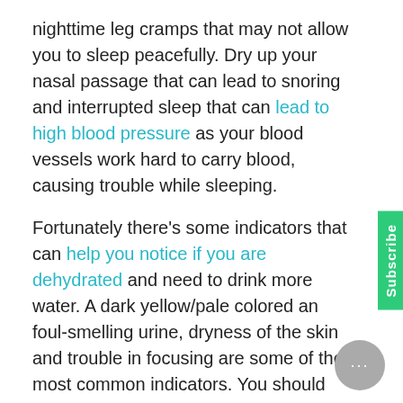nighttime leg cramps that may not allow you to sleep peacefully. Dry up your nasal passage that can lead to snoring and interrupted sleep that can lead to high blood pressure as your blood vessels work hard to carry blood, causing trouble while sleeping.
Fortunately there's some indicators that can help you notice if you are dehydrated and need to drink more water. A dark yellow/pale colored and foul-smelling urine, dryness of the skin and trouble in focusing are some of the most common indicators. You should ideally drink 2.3 oz water every day, but if you forget drinking water and notice any of these indicators, you should immediately drink more water and keep yourself hydrated.